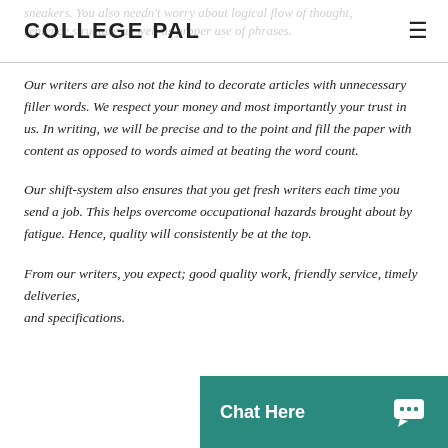COLLEGE PAL
sneakers. You also needn't worry about logical flow of thought, sentence structure as well as proper use of phrases.
Our writers are also not the kind to decorate articles with unnecessary filler words. We respect your money and most importantly your trust in us. In writing, we will be precise and to the point and fill the paper with content as opposed to words aimed at beating the word count.
Our shift-system also ensures that you get fresh writers each time you send a job. This helps overcome occupational hazards brought about by fatigue. Hence, quality will consistently be at the top.
From our writers, you expect; good quality work, friendly service, timely deliveries, adherence to given instructions and specifications.